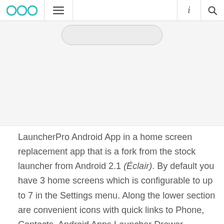OOC navigation bar with logo, menu, info and search icons
[Figure (screenshot): Partial screenshot of an app or phone UI showing a rounded rectangle element on a light grey background]
LauncherPro Android App in a home screen replacement app that is a fork from the stock launcher from Android 2.1 (Éclair). By default you have 3 home screens which is configurable to up to 7 in the Settings menu. Along the lower section are convenient icons with quick links to Phone, Contacts, Android Apps Launcher Drawer, Messaging, and Browser apps. The latest release added numbered notification icons for new text messages, missed calls and new emails. When you